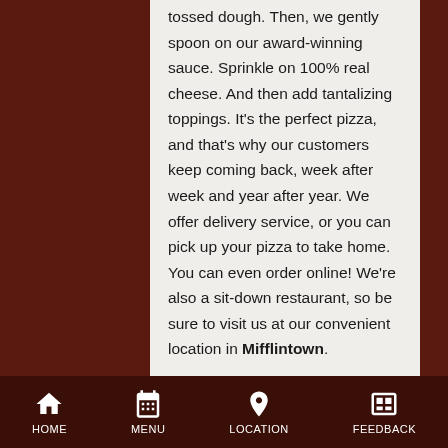tossed dough. Then, we gently spoon on our award-winning sauce. Sprinkle on 100% real cheese. And then add tantalizing toppings. It's the perfect pizza, and that's why our customers keep coming back, week after week and year after year. We offer delivery service, or you can pick up your pizza to take home. You can even order online! We're also a sit-down restaurant, so be sure to visit us at our convenient location in Mifflintown.
Fox's Pizza Mifflintown is just right to pick up after Tuesday-night soccer practice, on the weekends, or during the big game. If you're feeding a crowd with big appetites, then you'll
HOME  MENU  LOCATION  FEEDBACK